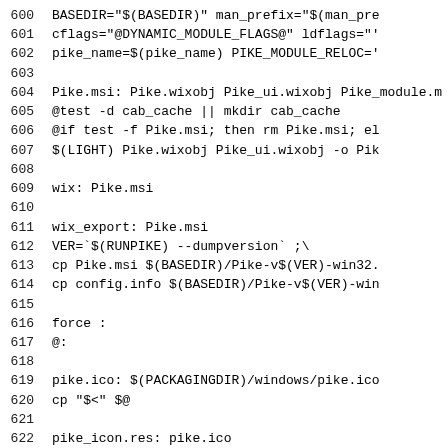600   BASEDIR="$(BASEDIR)" man_prefix="$(man_pre
601   cflags="@DYNAMIC_MODULE_FLAGS@" ldflags="
602   pike_name=$(pike_name) PIKE_MODULE_RELOC='
603
604   Pike.msi: Pike.wixobj Pike_ui.wixobj Pike_module.m
605   @test -d cab_cache || mkdir cab_cache
606   @if test -f Pike.msi; then rm Pike.msi; el
607   $(LIGHT) Pike.wixobj Pike_ui.wixobj -o Pik
608
609   wix: Pike.msi
610
611   wix_export: Pike.msi
612   VER=`$(RUNPIKE) --dumpversion` ;\
613   cp Pike.msi $(BASEDIR)/Pike-v$(VER)-win32.
614   cp config.info $(BASEDIR)/Pike-v$(VER)-win
615
616   force :
617   @:
618
619   pike.ico: $(PACKAGINGDIR)/windows/pike.ico
620   cp "$<" $@
621
622   pike_icon.res: pike.ico
623   echo 'pike ICON pike.ico' > pike_icon.rc
624   $(RCEXE) /fo $@ pike_icon.rc
625
626   # install